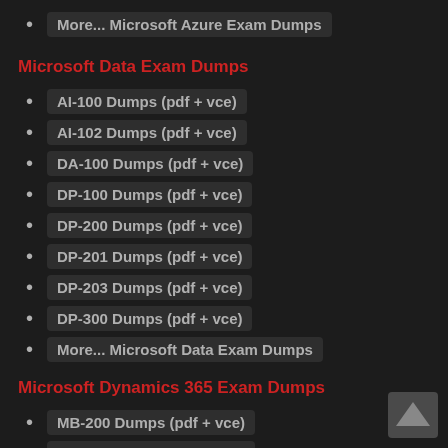More... Microsoft Azure Exam Dumps
Microsoft Data Exam Dumps
AI-100 Dumps (pdf + vce)
AI-102 Dumps (pdf + vce)
DA-100 Dumps (pdf + vce)
DP-100 Dumps (pdf + vce)
DP-200 Dumps (pdf + vce)
DP-201 Dumps (pdf + vce)
DP-203 Dumps (pdf + vce)
DP-300 Dumps (pdf + vce)
More... Microsoft Data Exam Dumps
Microsoft Dynamics 365 Exam Dumps
MB-200 Dumps (pdf + vce)
MB-210 Dumps (pdf + vce)